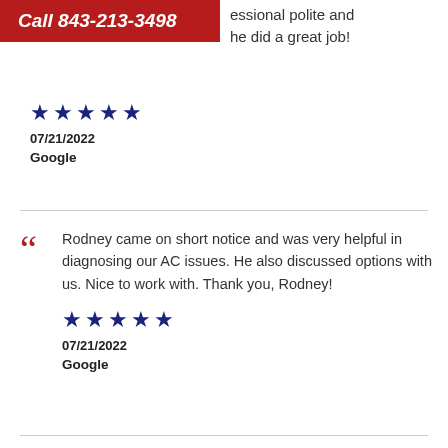Call 843-213-3498
essional polite and he did a great job!
★★★★★
07/21/2022
Google
Rodney came on short notice and was very helpful in diagnosing our AC issues. He also discussed options with us. Nice to work with. Thank you, Rodney!
★★★★★
07/21/2022
Google